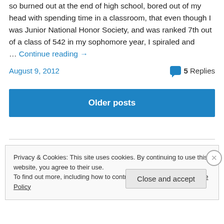so burned out at the end of high school, bored out of my head with spending time in a classroom, that even though I was Junior National Honor Society, and was ranked 7th out of a class of 542 in my sophomore year, I spiraled and … Continue reading →
August 9, 2012
5 Replies
Older posts
Privacy & Cookies: This site uses cookies. By continuing to use this website, you agree to their use.
To find out more, including how to control cookies, see here: Cookie Policy
Close and accept